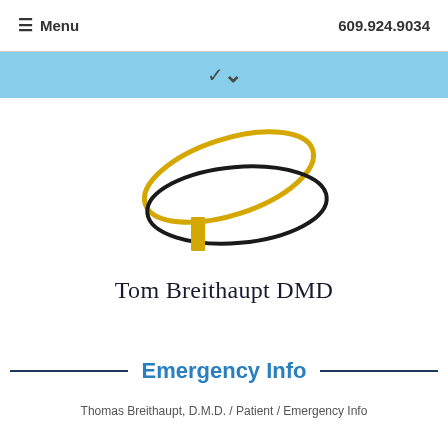≡ Menu    609.924.9034
[Figure (other): Light blue navigation bar with a downward chevron arrow]
[Figure (logo): Tom Breithaupt DMD logo: two overlapping ellipses (gold and black) with a gold rectangle accent, above the text 'Tom Breithaupt DMD' in serif font]
Emergency Info
Thomas Breithaupt, D.M.D. / Patient / Emergency Info